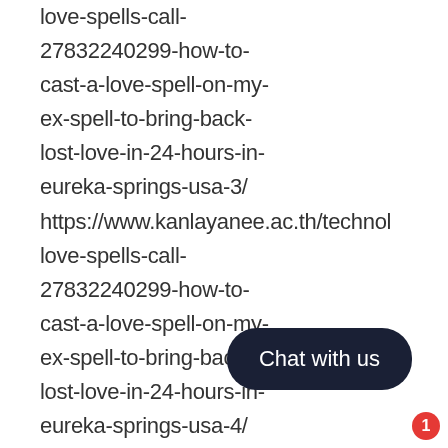love-spells-call-27832240299-how-to-cast-a-love-spell-on-my-ex-spell-to-bring-back-lost-love-in-24-hours-in-eureka-springs-usa-3/ https://www.kanlayanee.ac.th/technol love-spells-call-27832240299-how-to-cast-a-love-spell-on-my-ex-spell-to-bring-back-lost-love-in-24-hours-in-eureka-springs-usa-4/ https://www.kanlayanee.ac.th/technol love-spells-call-27832240299-how-to-cast-a-love-spell-on-my-ex-spell-to-bring-back-
[Figure (other): Dark navy rounded rectangle chat button with text 'Chat with us' and a red notification badge showing '1']